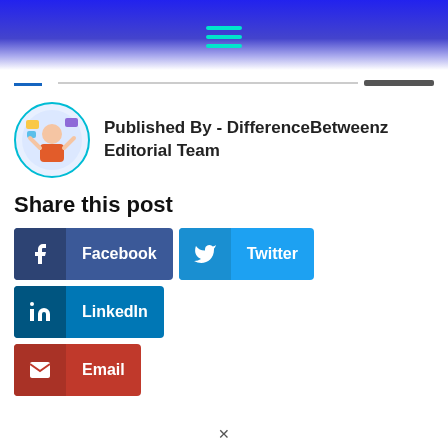[Figure (other): Website header bar with blue gradient background and teal hamburger menu icon]
Published By - DifferenceBetweenz Editorial Team
Share this post
[Figure (other): Facebook share button]
[Figure (other): Twitter share button]
[Figure (other): LinkedIn share button]
[Figure (other): Email share button]